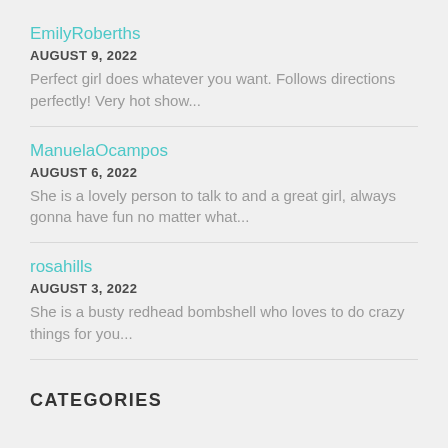EmilyRoberths
AUGUST 9, 2022
Perfect girl does whatever you want. Follows directions perfectly! Very hot show...
ManuelaOcampos
AUGUST 6, 2022
She is a lovely person to talk to and a great girl, always gonna have fun no matter what...
rosahills
AUGUST 3, 2022
She is a busty redhead bombshell who loves to do crazy things for you...
CATEGORIES